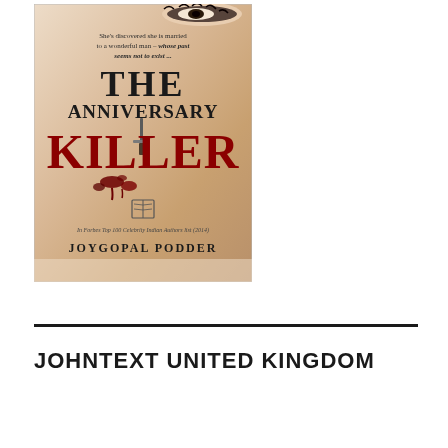[Figure (illustration): Book cover of 'The Anniversary Killer' by Joygopal Podder. Features a close-up of a woman's face with dramatic eye makeup on a skin-toned background. Title text: 'THE ANNIVERSARY KILLER' with 'KILLER' in large red letters. Tagline: 'She's discovered she is married to a wonderful man - whose past seems not to exist ...' Publisher logo in center. Bottom text: 'In Forbes Top 100 Celebrity Indian Authors list (2014)' and author name 'JOYGOPAL PODDER'.]
JOHNTEXT UNITED KINGDOM